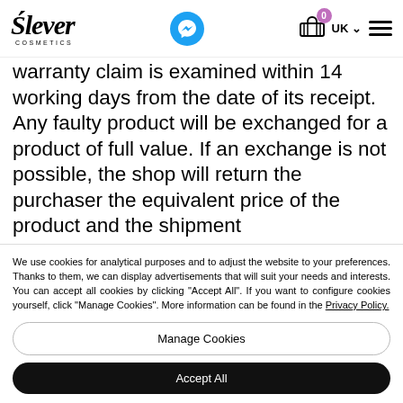Slever Cosmetics — UK — navigation header
warranty claim is examined within 14 working days from the date of its receipt. Any faulty product will be exchanged for a product of full value. If an exchange is not possible, the shop will return the purchaser the equivalent price of the product and the shipment
We use cookies for analytical purposes and to adjust the website to your preferences. Thanks to them, we can display advertisements that will suit your needs and interests. You can accept all cookies by clicking "Accept All". If you want to configure cookies yourself, click "Manage Cookies". More information can be found in the Privacy Policy.